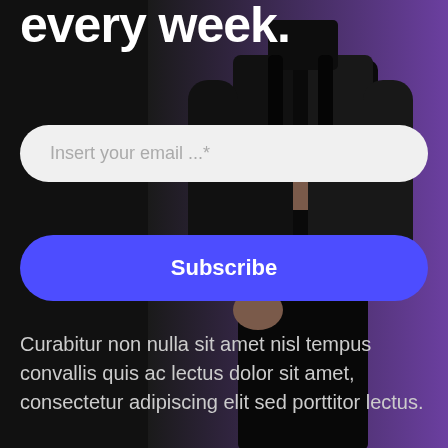every week.
[Figure (photo): A person dressed in black clothing (crop top and jacket) standing against a dark background with a purple gradient on the right side.]
Insert your email ...*
Subscribe
Curabitur non nulla sit amet nisl tempus convallis quis ac lectus dolor sit amet, consectetur adipiscing elit sed porttitor lectus.